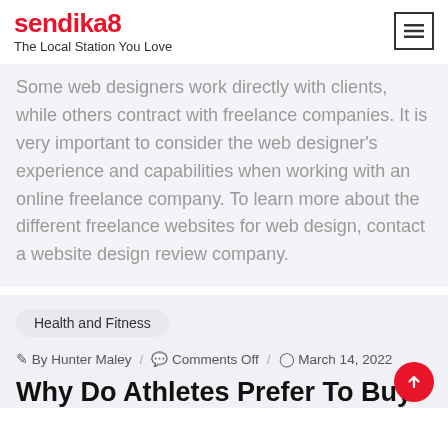sendika8 — The Local Station You Love
Some web designers work directly with clients, while others contract with freelance companies. It is very important to consider the web designer's experience and capabilities when working with an online freelance company. To learn more about the different freelance websites for web design, contact a website design review company.
Health and Fitness
By Hunter Maley / Comments Off / March 14, 2022
Why Do Athletes Prefer To Buy